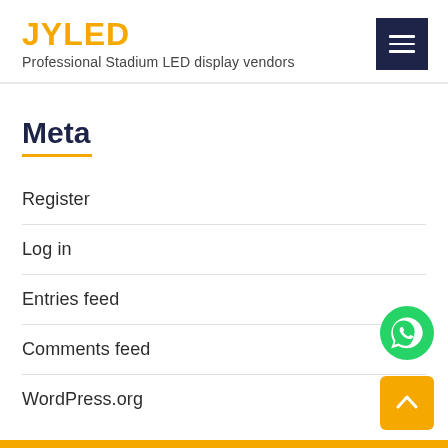JYLED
Professional Stadium LED display vendors
Meta
Register
Log in
Entries feed
Comments feed
WordPress.org
[Figure (illustration): WhatsApp contact button (green circle with phone icon)]
[Figure (illustration): Back-to-top button (yellow square with upward chevron arrow)]